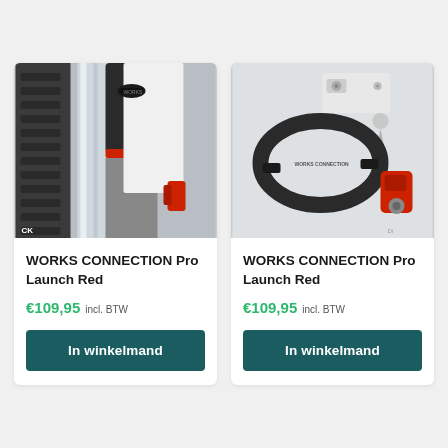[Figure (photo): Close-up photo of a mountain bike suspension fork with red accents and knobby tire visible]
WORKS CONNECTION Pro Launch Red
€109,95 incl. BTW
In winkelmand
[Figure (photo): Photo of Works Connection Pro Launch Red kit parts including a black clamp ring, silver tool, white bracket, and red component on white background]
WORKS CONNECTION Pro Launch Red
€109,95 incl. BTW
In winkelmand